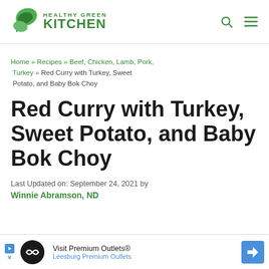Healthy Green Kitchen
Home » Recipes » Beef, Chicken, Lamb, Pork, Turkey » Red Curry with Turkey, Sweet Potato, and Baby Bok Choy
Red Curry with Turkey, Sweet Potato, and Baby Bok Choy
Last Updated on: September 24, 2021 by Winnie Abramson, ND
[Figure (other): Advertisement banner for Visit Premium Outlets® Leesburg Premium Outlets]